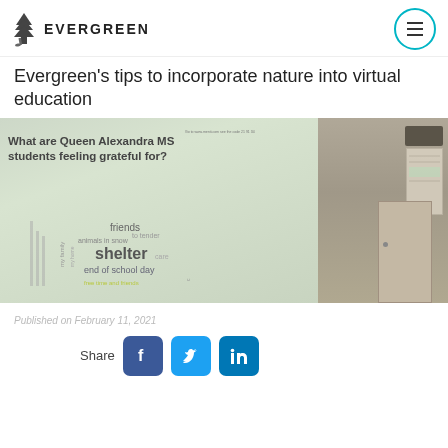EVERGREEN
Evergreen's tips to incorporate nature into virtual education
[Figure (photo): Classroom photo showing a projected slideshow on a screen with the question 'What are Queen Alexandra MS students feeling grateful for?' and a word cloud with words like 'shelter', 'friends', 'end of school day'. A classroom wall with a bulletin board is visible on the right.]
Published on February 11, 2021
Share